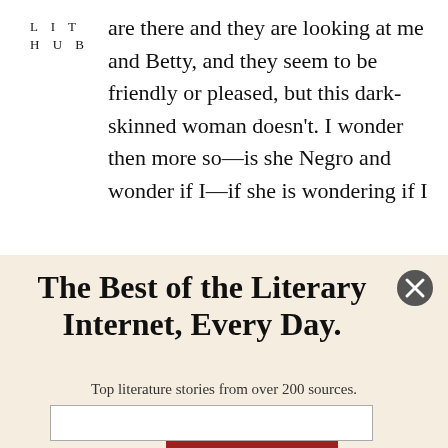LIT
HUB
are there and they are looking at me and Betty, and they seem to be friendly or pleased, but this dark-skinned woman doesn't. I wonder then more so—is she Negro and wonder if I—if she is wondering if I
The Best of the Literary Internet, Every Day.
Top literature stories from over 200 sources.